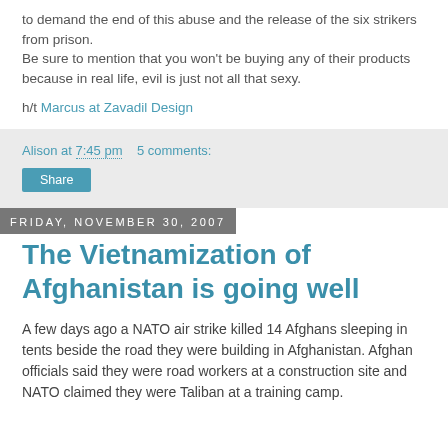to demand the end of this abuse and the release of the six strikers from prison.
Be sure to mention that you won't be buying any of their products because in real life, evil is just not all that sexy.
h/t Marcus at Zavadil Design
Alison at 7:45 pm   5 comments:
Share
Friday, November 30, 2007
The Vietnamization of Afghanistan is going well
A few days ago a NATO air strike killed 14 Afghans sleeping in tents beside the road they were building in Afghanistan. Afghan officials said they were road workers at a construction site and NATO claimed they were Taliban at a training camp.